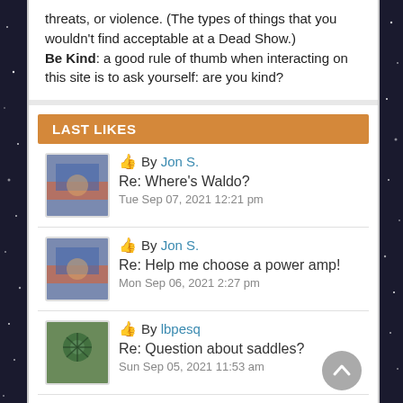threats, or violence. (The types of things that you wouldn't find acceptable at a Dead Show.) Be Kind: a good rule of thumb when interacting on this site is to ask yourself: are you kind?
LAST LIKES
By Jon S. | Re: Where's Waldo? | Tue Sep 07, 2021 12:21 pm
By Jon S. | Re: Help me choose a power amp! | Mon Sep 06, 2021 2:27 pm
By lbpesq | Re: Question about saddles? | Sun Sep 05, 2021 11:53 am
By Jon S. | Re: Help me choose a power amp! | Sat Sep 04, 2021 10:46 am